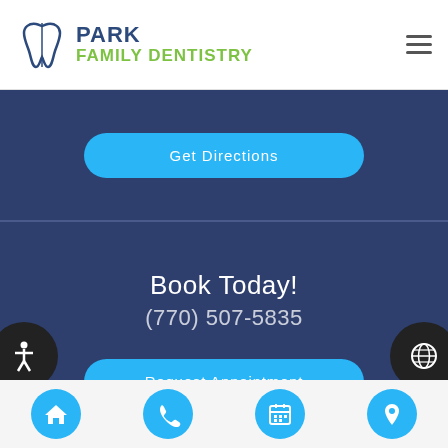[Figure (logo): Park Family Dentistry logo with tooth icon, blue and green text]
Get Directions
Book Today!
(770) 507-5835
Request Appointment
Comments or
[Figure (infographic): Bottom navigation bar with four circular blue icons: home, phone, calendar, location pin]